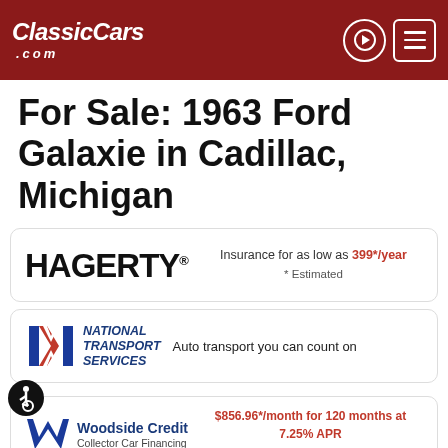ClassicCars.com
For Sale: 1963 Ford Galaxie in Cadillac, Michigan
[Figure (logo): Hagerty insurance logo with text: Insurance for as low as 399*/year * Estimated]
[Figure (logo): National Transport Services logo with text: Auto transport you can count on]
[Figure (logo): Woodside Credit Collector Car Financing logo with text: $856.96*/month for 120 months at 7.25% APR * Estimated]